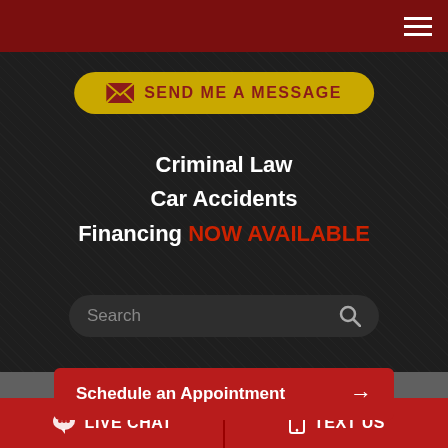[Figure (screenshot): Dark red top navigation bar with hamburger menu icon on the right]
[Figure (other): Golden pill-shaped button with envelope icon and text SEND ME A MESSAGE]
Criminal Law
Car Accidents
Financing NOW AVAILABLE
[Figure (other): Dark search bar with placeholder text Search and magnifying glass icon]
[Figure (other): Red button: Schedule an Appointment with arrow]
[Figure (logo): Trial Masters Seal of Experience badge logo]
[Figure (logo): FA logo with blue accent]
[Figure (other): Bottom red bar with LIVE CHAT and TEXT US buttons]